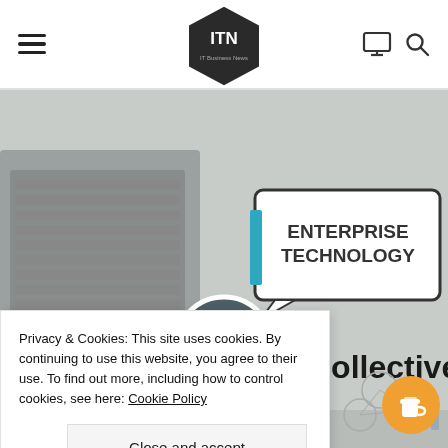ITN - IT Business News (logo with hamburger menu, monitor icon, search icon)
[Figure (screenshot): Hero image of a website showing 'The Digital Collective' with 'Enterprise Technology' speech bubble, video play button overlay, and a laptop keyboard in background. Partial view of a person at bottom.]
Privacy & Cookies: This site uses cookies. By continuing to use this website, you agree to their use. To find out more, including how to control cookies, see here: Cookie Policy
Close and accept